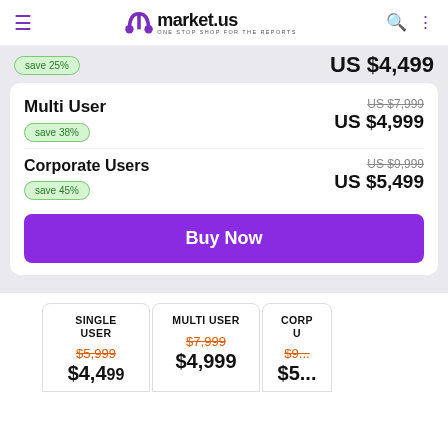market.us — ONE STOP SHOP FOR THE REPORTS
save 25%  US $4,499
| User Type | Original Price | Discounted Price |
| --- | --- | --- |
| Multi User | US $7,999 | US $4,999 (save 38%) |
| Corporate Users | US $9,999 | US $5,499 (save 45%) |
Buy Now
| SINGLE USER | MULTI USER | CORP U |
| --- | --- | --- |
| $5,999 | $7,999 | $9... |
| $4,499 | $4,999 | $5... |